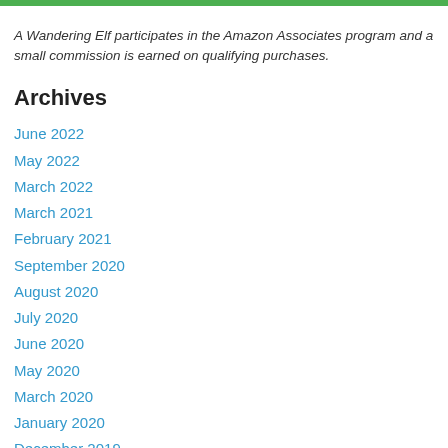A Wandering Elf participates in the Amazon Associates program and a small commission is earned on qualifying purchases.
Archives
June 2022
May 2022
March 2022
March 2021
February 2021
September 2020
August 2020
July 2020
June 2020
May 2020
March 2020
January 2020
December 2019
November 2019
September 2019
July 2019